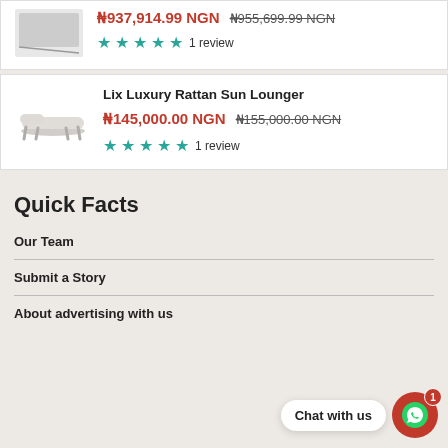[Figure (screenshot): Top partial product card with price ₦937,914.99 NGN (was ₦955,699.99 NGN) and 5-star rating, 1 review]
[Figure (screenshot): Product card for Lix Luxury Rattan Sun Lounger priced at ₦145,000.00 NGN (was ₦155,000.00 NGN) with 5-star rating, 1 review]
Quick Facts
Our Team
Submit a Story
About advertising with us